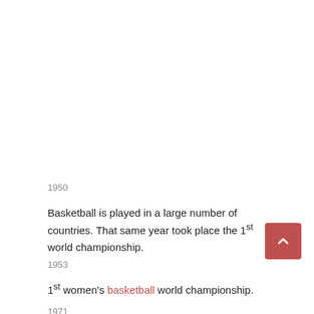1950
Basketball is played in a large number of countries. That same year took place the 1st world championship.
1953
1st women's basketball world championship.
1971